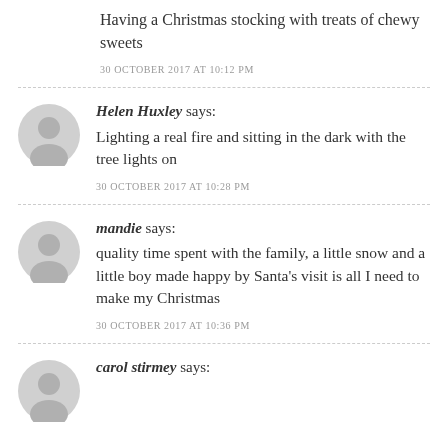Having a Christmas stocking with treats of chewy sweets
30 OCTOBER 2017 AT 10:12 PM
Helen Huxley says: Lighting a real fire and sitting in the dark with the tree lights on
30 OCTOBER 2017 AT 10:28 PM
mandie says: quality time spent with the family, a little snow and a little boy made happy by Santa's visit is all I need to make my Christmas
30 OCTOBER 2017 AT 10:36 PM
carol stirmey says: